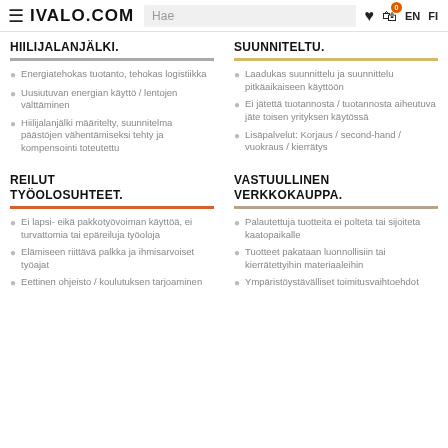≡ IVALO.COM  Hae  ♥  🛒 0  EN  FI
HIILIJALANJÄLKI.
Energiatehokas tuotanto, tehokas logistiikka
Uusiutuvan energian käyttö / lentojen välttäminen
Hiilijalanjälki määritelty, suunnitelma päästöjen vähentämiseksi tehty ja kompensointi toteutettu
SUUNNITELTU.
Laadukas suunnittelu ja suunnittelu pitkäaikaiseen käyttöön
Ei jätettä tuotannosta / tuotannosta aiheutuva jäte toisen yrityksen käytössä
Lisäpalvelut: Korjaus / second-hand / vuokraus / kierrätys
REILUT TYÖOLOSUHTEET.
Ei lapsi- eikä pakkotyövoiman käyttöä, ei turvattomia tai epäreiluja työoloja
Elämiseen riittävä palkka ja ihmisarvoiset työajat
Eettinen ohjeisto / koulutuksen tarjoaminen
VASTUULLINEN VERKKOKAUPPA.
Palautettuja tuotteita ei polteta tai sijoiteta kaatopaikalle
Tuotteet pakataan luonnollisiin tai kierrätettyihin materiaaleihin
Ympäristöystävälliset toimitusvaihtoehdot